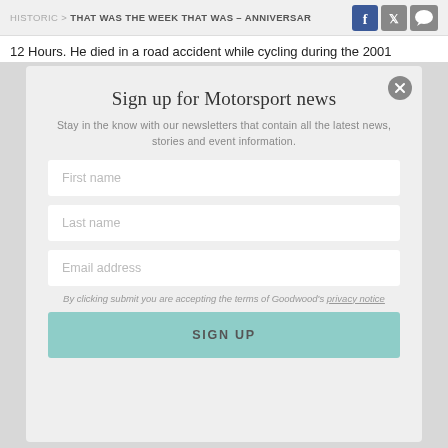HISTORIC > THAT WAS THE WEEK THAT WAS – ANNIVERSAR
12 Hours. He died in a road accident while cycling during the 2001
Sign up for Motorsport news
Stay in the know with our newsletters that contain all the latest news, stories and event information.
First name
Last name
Email address
By clicking submit you are accepting the terms of Goodwood's privacy notice
SIGN UP